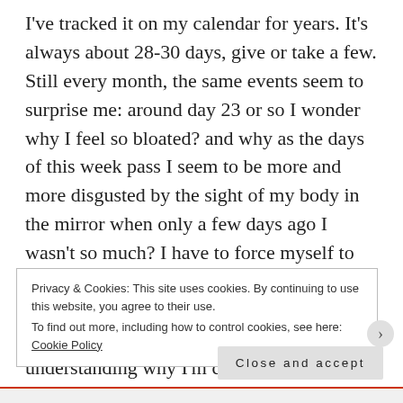I've tracked it on my calendar for years. It's always about 28-30 days, give or take a few. Still every month, the same events seem to surprise me: around day 23 or so I wonder why I feel so bloated? and why as the days of this week pass I seem to be more and more disgusted by the sight of my body in the mirror when only a few days ago I wasn't so much? I have to force myself to move, take a brisk walk, go to yoga. On the last day of this week, around day 26 or 27, I cry for an entire day (or more) without understanding why I'm crying? Ultimately I get a throbbing headache, dehydrated from all the crying (note
Privacy & Cookies: This site uses cookies. By continuing to use this website, you agree to their use.
To find out more, including how to control cookies, see here: Cookie Policy
Close and accept